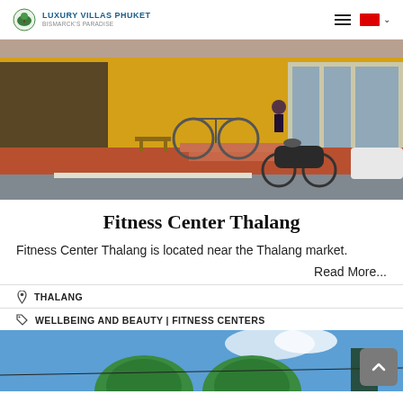Luxury Villas Phuket — Bismarck's Paradise
[Figure (photo): Exterior of Fitness Center Thalang building with yellow walls, bicycles parked outside, steps leading to entrance, a scooter and a white car visible on the red concrete street]
Fitness Center Thalang
Fitness Center Thalang is located near the Thalang market.
Read More...
THALANG
WELLBEING AND BEAUTY | FITNESS CENTERS
[Figure (photo): Bottom portion showing green domed structures against a blue sky with some trees/wires visible]